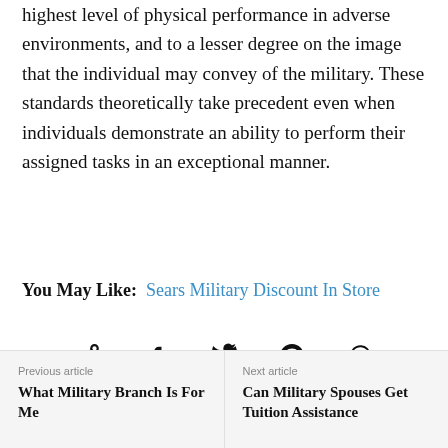highest level of physical performance in adverse environments, and to a lesser degree on the image that the individual may convey of the military. These standards theoretically take precedent even when individuals demonstrate an ability to perform their assigned tasks in an exceptional manner.
You May Like: Sears Military Discount In Store
[Figure (infographic): Social sharing icons: share, facebook, twitter, pinterest, whatsapp]
Previous article: What Military Branch Is For Me | Next article: Can Military Spouses Get Tuition Assistance